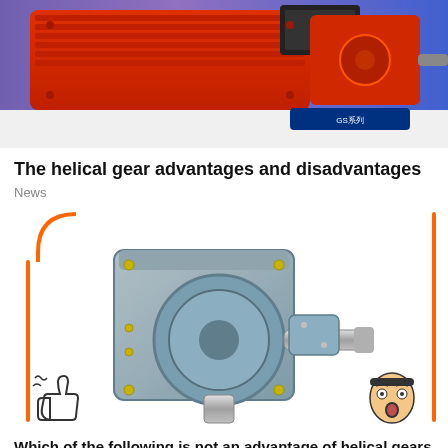[Figure (photo): Red helical gear motor unit on display with a label plate reading 'GS系列' at the bottom, shown against a blue background]
The helical gear advantages and disadvantages
News
[Figure (photo): Gray helical gearbox unit with output shaft, mounted between two vertical orange accent bars. Cartoon emoji icons at bottom corners. Text at bottom: 'Which of the following is not an advantage of helical gears']
Which of the following is not an advantage of helical gears